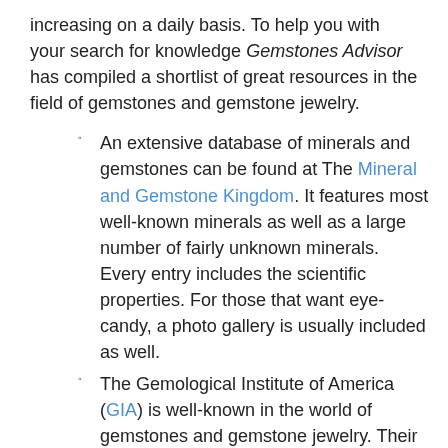increasing on a daily basis. To help you with your search for knowledge Gemstones Advisor has compiled a shortlist of great resources in the field of gemstones and gemstone jewelry.
An extensive database of minerals and gemstones can be found at The Mineral and Gemstone Kingdom. It features most well-known minerals as well as a large number of fairly unknown minerals. Every entry includes the scientific properties. For those that want eye-candy, a photo gallery is usually included as well.
The Gemological Institute of America (GIA) is well-known in the world of gemstones and gemstone jewelry. Their focus lies on protection of buyers and sellers of gemstones through education of the public and the training of experts. Their research of synthetic gemstones and new gemstone treatments is considered the best in the world.
If you have a question you haven't been able to find an answer to you can try the Gemology Online